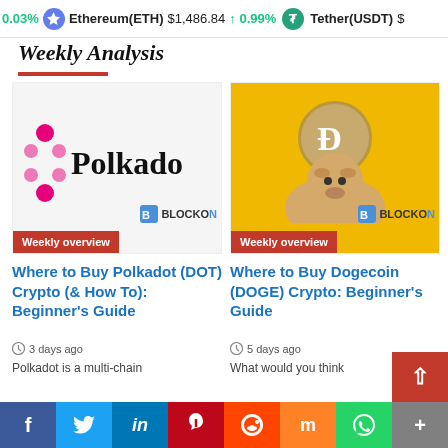0.03%   Ethereum(ETH)  $1,486.84  ↑ 0.99%   Tether(USDT)  $
Weekly Analysis
[Figure (screenshot): Polkadot logo on light grey background with BLOCKON watermark and Weekly overview badge]
[Figure (screenshot): Dogecoin Shiba Inu dog on yellow background with BLOCKON watermark and Weekly overview badge]
Where to Buy Polkadot (DOT) Crypto (& How To): Beginner's Guide
3 days ago
Polkadot is a multi-chain
Where to Buy Dogecoin (DOGE) Crypto: Beginner's Guide
5 days ago
What would you think
f  Twitter  in  Pinterest  Reddit  Mix  WhatsApp  +